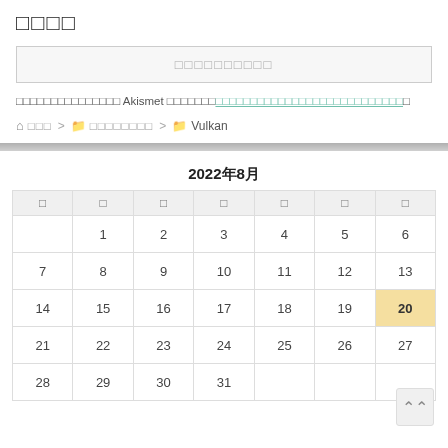□□□□
□□□□□□□□□□
□□□□□□□□□□□□□□□ Akismet □□□□□□□□□□□□□□□□□□□□□□□□□□□□□□□□□□□□□
🏠 □□□ > □ □□□□□□□□ > □ Vulkan
| □ | □ | □ | □ | □ | □ | □ |
| --- | --- | --- | --- | --- | --- | --- |
|  | 1 | 2 | 3 | 4 | 5 | 6 |
| 7 | 8 | 9 | 10 | 11 | 12 | 13 |
| 14 | 15 | 16 | 17 | 18 | 19 | 20 |
| 21 | 22 | 23 | 24 | 25 | 26 | 27 |
| 28 | 29 | 30 | 31 |  |  |  |